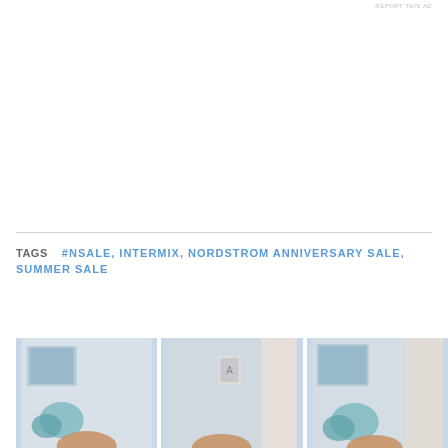REPORT THIS AD
TAGS  #NSALE, INTERMIX, NORDSTROM ANNIVERSARY SALE, SUMMER SALE
[Figure (photo): Three photos of a woman in outfits, shown in a row at the bottom of the page]
[Figure (photo): Second photo in row]
[Figure (photo): Third photo in row]